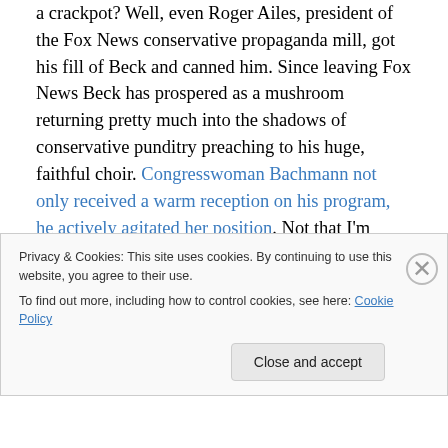a crackpot? Well, even Roger Ailes, president of the Fox News conservative propaganda mill, got his fill of Beck and canned him. Since leaving Fox News Beck has prospered as a mushroom returning pretty much into the shadows of conservative punditry preaching to his huge, faithful choir. Congresswoman Bachmann not only received a warm reception on his program, he actively agitated her position. Not that I'm surprised. Beck not only is a fellow conservative who, like Michele, wears the Tea Party on his sleeve but was famous – or infamous is more like it – on his Fox News show for his own brand of wacky
Privacy & Cookies: This site uses cookies. By continuing to use this website, you agree to their use.
To find out more, including how to control cookies, see here: Cookie Policy